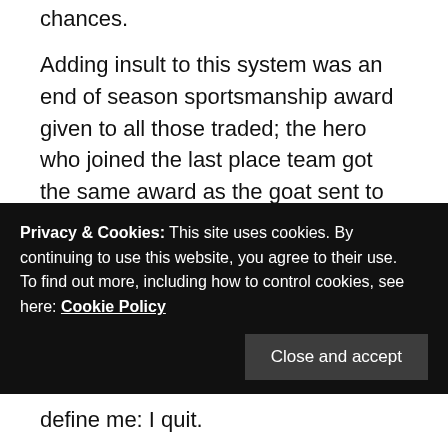chances.
Adding insult to this system was an end of season sportsmanship award given to all those traded; the hero who joined the last place team got the same award as the goat sent to lay waste to the first-place team.  This was the culmination of a humiliating sports career made more poignant by my father’s place as a brilliant Short Center on his Saturday morning softball league team.  He was such an enthusiast that he was among the founders of the town’s little league before I...
define me:  I quit.
Privacy & Cookies: This site uses cookies. By continuing to use this website, you agree to their use.
To find out more, including how to control cookies, see here: Cookie Policy